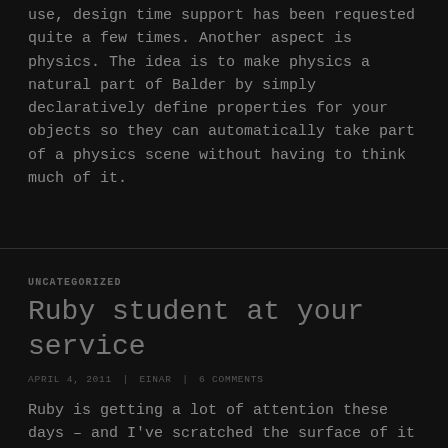use, design time support has been requested quite a few times. Another aspect is physics. The idea is to make physics a natural part of Balder by simply declaratively define properties for your objects so they can automatically take part of a physics scene without having to think much of it.
UNCATEGORIZED
Ruby student at your service
APRIL 4, 2011 | EINAR | 6 COMMENTS
Ruby is getting a lot of attention these days – and I've scratched the surface of it myself and can understand